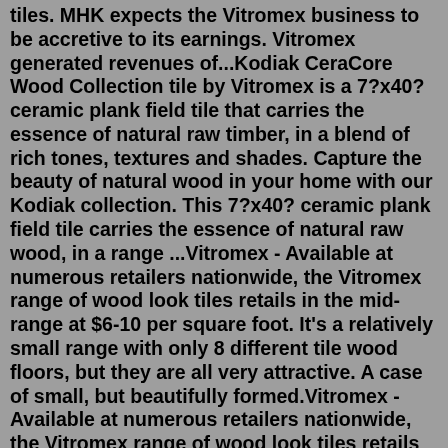tiles. MHK expects the Vitromex business to be accretive to its earnings. Vitromex generated revenues of...Kodiak CeraCore Wood Collection tile by Vitromex is a 7?x40? ceramic plank field tile that carries the essence of natural raw timber, in a blend of rich tones, textures and shades. Capture the beauty of natural wood in your home with our Kodiak collection. This 7?x40? ceramic plank field tile carries the essence of natural raw wood, in a range ...Vitromex - Available at numerous retailers nationwide, the Vitromex range of wood look tiles retails in the mid-range at $6-10 per square foot. It's a relatively small range with only 8 different tile wood floors, but they are all very attractive. A case of small, but beautifully formed.Vitromex - Available at numerous retailers nationwide, the Vitromex range of wood look tiles retails in the mid-range at $6-10 per square foot. It's a relatively small range with only 8 different tile wood floors, but they are all very attractive. A case of small, but beautifully